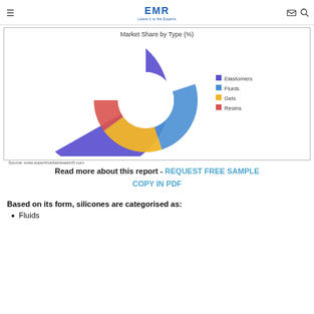EMR — Leave it to the Experts
[Figure (donut-chart): Market Share by Type (%)]
Source: www.expertmarketresearch.com
Read more about this report - REQUEST FREE SAMPLE COPY IN PDF
Based on its form, silicones are categorised as:
Fluids